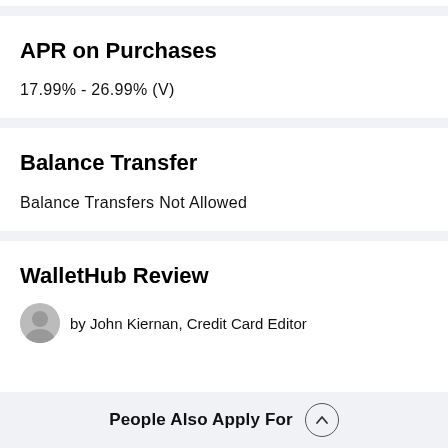APR on Purchases
17.99% - 26.99% (V)
Balance Transfer
Balance Transfers Not Allowed
WalletHub Review
by John Kiernan, Credit Card Editor
People Also Apply For